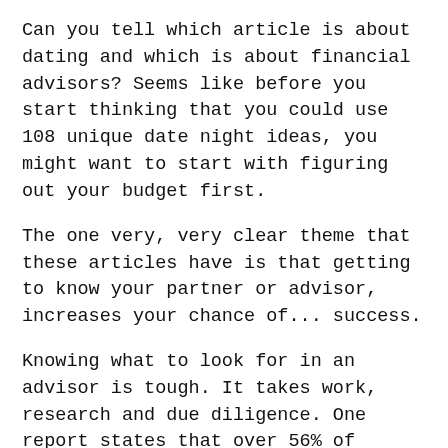Can you tell which article is about dating and which is about financial advisors? Seems like before you start thinking that you could use 108 unique date night ideas, you might want to start with figuring out your budget first.
The one very, very clear theme that these articles have is that getting to know your partner or advisor, increases your chance of... success.
Knowing what to look for in an advisor is tough. It takes work, research and due diligence. One report states that over 56% of Canadians (including me) find their advisor through a referral, you might be missing a beautiful relationship right around the corner.
We started Advisorsavvy to provide Canadians with the knowledge they need to be confident when